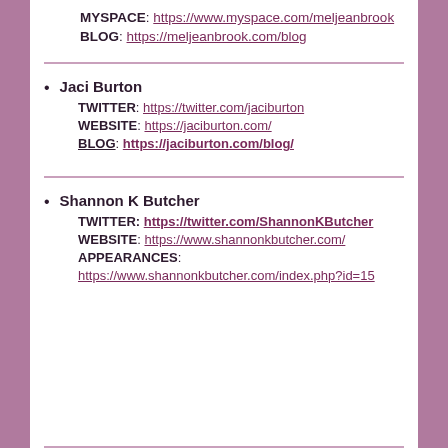MYSPACE: https://www.myspace.com/meljeanbrook
BLOG: https://meljeanbrook.com/blog
Jaci Burton
TWITTER: https://twitter.com/jaciburton
WEBSITE: https://jaciburton.com/
BLOG: https://jaciburton.com/blog/
Shannon K Butcher
TWITTER: https://twitter.com/ShannonKButcher
WEBSITE: https://www.shannonkbutcher.com/
APPEARANCES:
https://www.shannonkbutcher.com/index.php?id=15